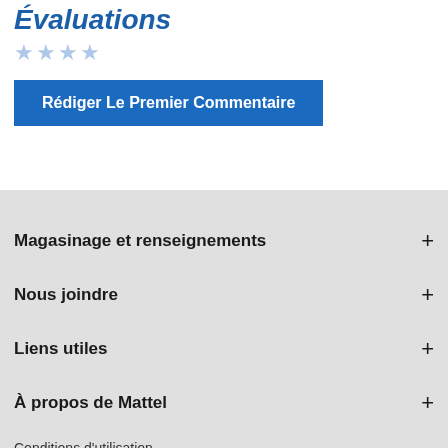Évaluations
★★★★
Rédiger Le Premier Commentaire
Magasinage et renseignements +
Nous joindre +
Liens utiles +
À propos de Mattel +
Conditions d'utilisation
Déclaration de confidentialité